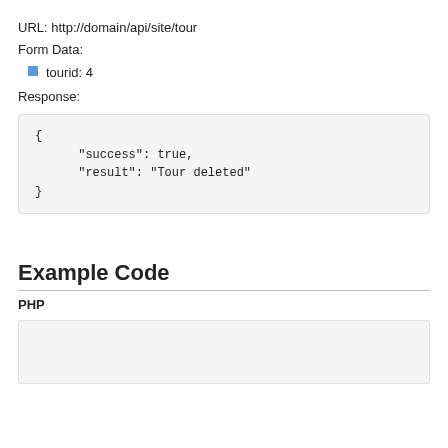URL: http://domain/api/site/tour
Form Data:
tourid: 4
Response:
{
      "success": true,
      "result": "Tour deleted"
}
Example Code
PHP
<?php

$headers = array( //set your username and API key here
        'api-key: 44b5498dbcb481a0d00b404c0169af62',
        'api-username: tmm1phrvezsbu'
);